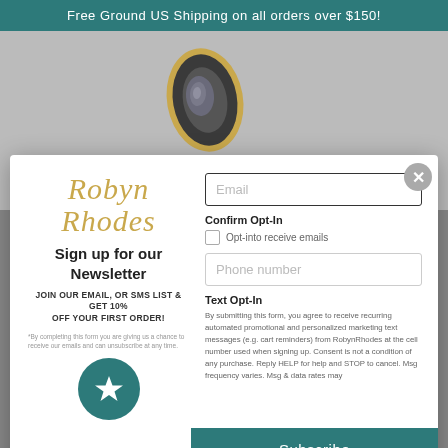Free Ground US Shipping on all orders over $150!
[Figure (photo): Background photo of a dark geode/agate stone pendant with gold edging on a gray surface]
[Figure (screenshot): Newsletter signup modal popup with Robyn Rhodes logo, signup form fields for email, phone, opt-in checkboxes, and subscribe button]
Robyn Rhodes
Sign up for our Newsletter
JOIN OUR EMAIL, OR SMS LIST & GET 10% OFF YOUR FIRST ORDER!
*By completing this form you are giving us a chance to receive our emails and can unsubscribe at any time.
Confirm Opt-In
Opt-into receive emails
Text Opt-In
By submitting this form, you agree to receive recurring automated promotional and personalized marketing text messages (e.g. cart reminders) from RobynRhodes at the cell number used when signing up. Consent is not a condition of any purchase. Reply HELP for help and STOP to cancel. Msg frequency varies. Msg & data rates may